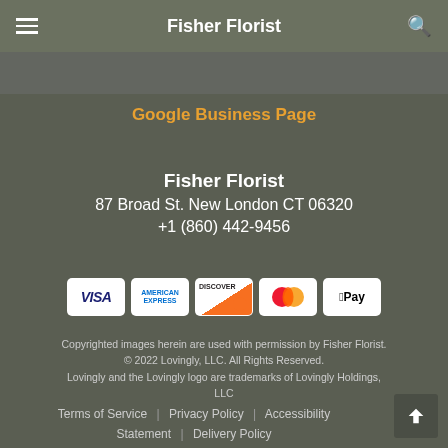Fisher Florist
Google Business Page
Fisher Florist
87 Broad St. New London CT 06320
+1 (860) 442-9456
[Figure (other): Payment method icons: Visa, American Express, Discover, Mastercard, Apple Pay]
Copyrighted images herein are used with permission by Fisher Florist. © 2022 Lovingly, LLC. All Rights Reserved. Lovingly and the Lovingly logo are trademarks of Lovingly Holdings, LLC
Terms of Service | Privacy Policy | Accessibility Statement | Delivery Policy